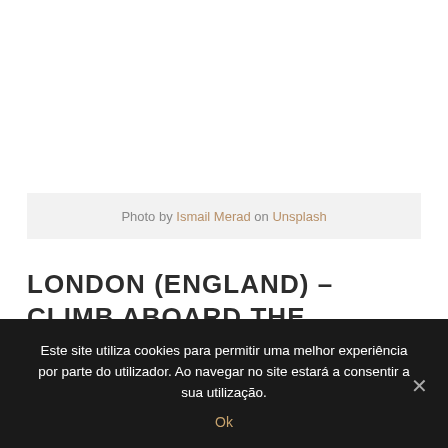[Figure (photo): White/blank image area representing a photo placeholder at the top of the page]
Photo by Ismail Merad on Unsplash
LONDON (ENGLAND) – CLIMB ABOARD THE LONDON EYE
Este site utiliza cookies para permitir uma melhor experiência por parte do utilizador. Ao navegar no site estará a consentir a sua utilização.
Ok